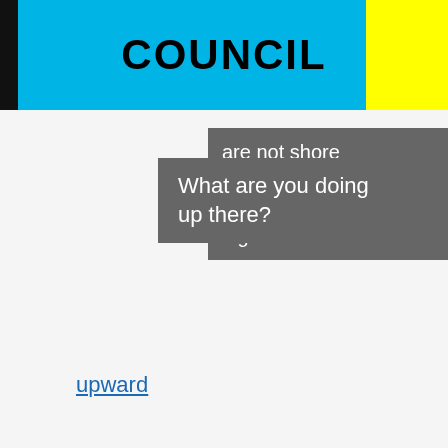COUNCIL
What are you doing up there?
are not shore is here ment give up. Or : higher.
upward